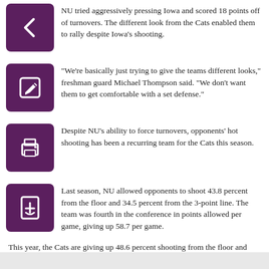NU tried aggressively pressing Iowa and scored 18 points off of turnovers. The different look from the Cats enabled them to rally despite Iowa's shooting.
"We're basically just trying to give the teams different looks," freshman guard Michael Thompson said. "We don't want them to get comfortable with a set defense."
Despite NU's ability to force turnovers, opponents' hot shooting has been a recurring team for the Cats this season.
Last season, NU allowed opponents to shoot 43.8 percent from the floor and 34.5 percent from the 3-point line. The team was fourth in the conference in points allowed per game, giving up 58.7 per game.
This year, the Cats are giving up 48.6 percent shooting from the floor and 40.1 percent 3-point shooting. They also have given up 68.5 points per game, on pace to be the most per game since Bill Carmody became head coach in 2000.
philiprossmanreich2007@u.northwestern.edu